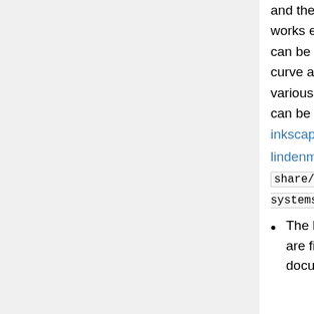and the angles by a given percent for more natural look (this works especially well with plant-like branching shapes). This effect can be used to create Penrose tiling, Sierpinsky triangle, Dragon curve and other famous mathematical artefacts, as well as various meanders, friezes, patterns, and trees. Some examples can be seen on this screenshot: inkscape.org/screenshots/gallery/inkscape-0.44-lindenmayer.png as well as in the new example file share/examples/l-systems.svg .
The Interpolate Path, Random Tree, and L-system effects are fixed to place their result on the current layer instead of document root and in